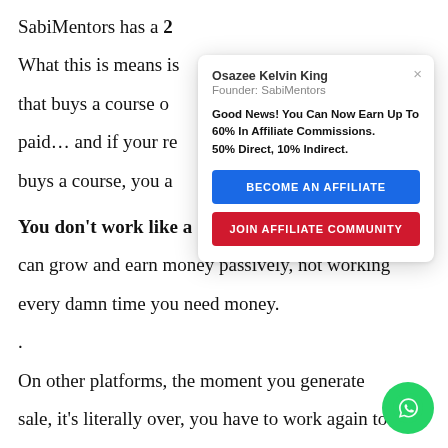SabiMentors has a 2
What this is means is
that buys a course o
paid… and if your re
buys a course, you a
You don't work like a
can grow and earn money passively, not working every damn time you need money.
.
On other platforms, the moment you generate sale, it's literally over, you have to work again to
[Figure (screenshot): Modal popup card from Osazee Kelvin King, Founder: SabiMentors. Contains bold text: 'Good News! You Can Now Earn Up To 60% In Affiliate Commissions. 50% Direct, 10% Indirect.' with two buttons: 'BECOME AN AFFILIATE' (blue) and 'JOIN AFFILIATE COMMUNITY' (red). Close button (x) in top right.]
[Figure (other): WhatsApp floating action button (green circle with white WhatsApp icon) in bottom right corner.]